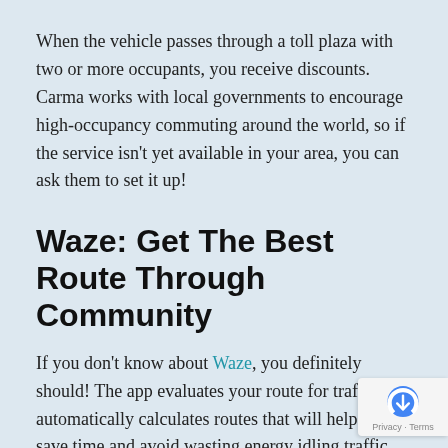When the vehicle passes through a toll plaza with two or more occupants, you receive discounts. Carma works with local governments to encourage high-occupancy commuting around the world, so if the service isn't yet available in your area, you can ask them to set it up!
Waze: Get The Best Route Through Community
If you don't know about Waze, you definitely should! The app evaluates your route for traffic, and automatically calculates routes that will help you save time and avoid wasting energy idling traffic jam.